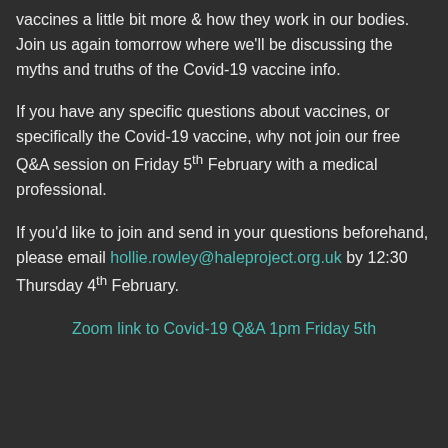vaccines a little bit more & how they work in our bodies. Join us again tomorrow where we'll be discussing the myths and truths of the Covid-19 vaccine info.
If you have any specific questions about vaccines, or specifically the Covid-19 vaccine, why not join our free Q&A session on Friday 5th February with a medical professional.
If you'd like to join and send in your questions beforehand, please email hollie.rowley@haleproject.org.uk by 12:30 Thursday 4th February.
Zoom link to Covid-19 Q&A 1pm Friday 5th